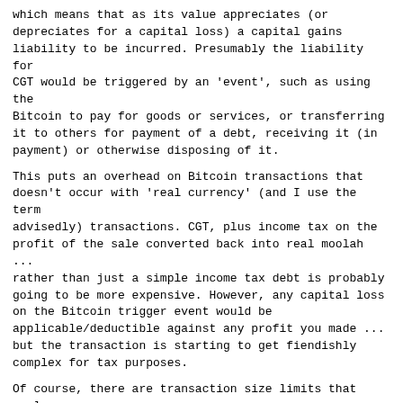which means that as its value appreciates (or depreciates for a capital loss) a capital gains liability to be incurred. Presumably the liability for CGT would be triggered by an 'event', such as using the Bitcoin to pay for goods or services, or transferring it to others for payment of a debt, receiving it (in payment) or otherwise disposing of it.
This puts an overhead on Bitcoin transactions that doesn't occur with 'real currency' (and I use the term advisedly) transactions. CGT, plus income tax on the profit of the sale converted back into real moolah ... rather than just a simple income tax debt is probably going to be more expensive. However, any capital loss on the Bitcoin trigger event would be applicable/deductible against any profit you made ... but the transaction is starting to get fiendishly complex for tax purposes.
Of course, there are transaction size limits that apply to CGT ... so lets accept the $10,000 figure mentioned below. Things accumulate from a business perspective, and it would be very easy for a business to suddenly find itself in CGT territory
>
> "Transacting with bitcoins is akin to a barter arrangement, with similar tax consequences," the guidance statement said. "The ATO's view is that bitcoin is neither money nor a foreign currency, and the supply of bitcoin is not a financial supply for...